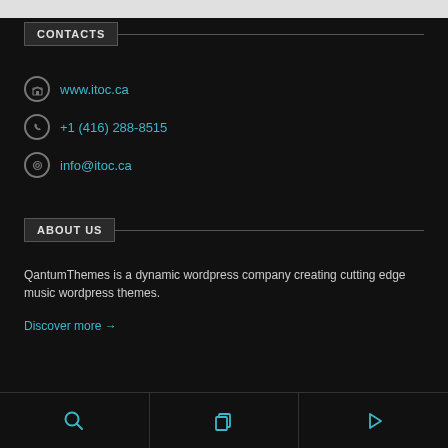CONTACTS
www.itoc.ca
+1 (416) 288-8515
info@itoc.ca
ABOUT US
QantumThemes is a dynamic wordpress company creating cutting edge music wordpress themes.
Discover more →
[Figure (infographic): Three bottom navigation icons: magnifying glass (search), overlapping squares (pages/copy), and play button triangle]